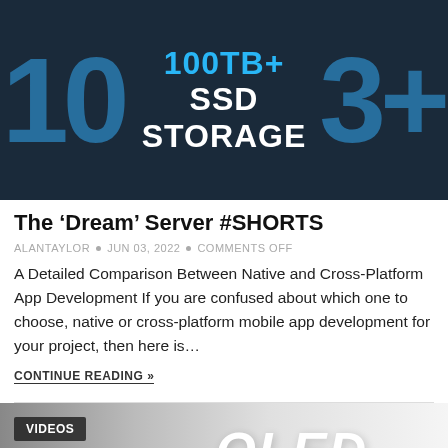[Figure (photo): Thumbnail image with dark background showing '100TB+ SSD STORAGE' text in white and cyan, with large blue '10' and '3+' numerals on the sides]
The ‘Dream’ Server #SHORTS
ALANTAYLOR • JUN 03, 2022 • COMMENTS OFF
A Detailed Comparison Between Native and Cross-Platform App Development If you are confused about which one to choose, native or cross-platform mobile app development for your project, then here is…
CONTINUE READING »
[Figure (photo): Bottom thumbnail image showing 'VIDEOS' badge in top-left corner and large 'OLED' text on orange background on the right side, with a lamp visible in the center]